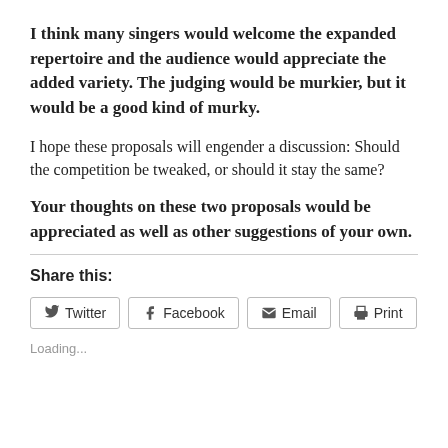I think many singers would welcome the expanded repertoire and the audience would appreciate the added variety. The judging would be murkier, but it would be a good kind of murky.
I hope these proposals will engender a discussion: Should the competition be tweaked, or should it stay the same?
Your thoughts on these two proposals would be appreciated as well as other suggestions of your own.
Share this:
Twitter  Facebook  Email  Print
Loading...